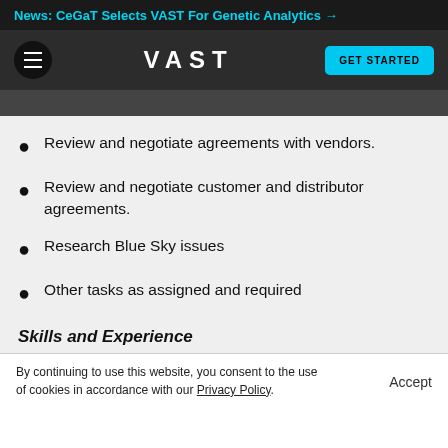News: CeGaT Selects VAST For Genetic Analytics →
[Figure (screenshot): VAST logo navigation bar with hamburger menu and GET STARTED button]
Review and negotiate agreements with vendors.
Review and negotiate customer and distributor agreements.
Research Blue Sky issues
Other tasks as assigned and required
Skills and Experience
By continuing to use this website, you consent to the use of cookies in accordance with our Privacy Policy.